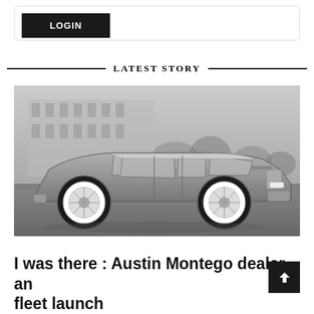LOGIN
LATEST STORY
[Figure (photo): Black and white photograph of an Austin Montego sedan car, side profile view, parked on grass with a building in the background.]
I was there : Austin Montego dealer and fleet launch